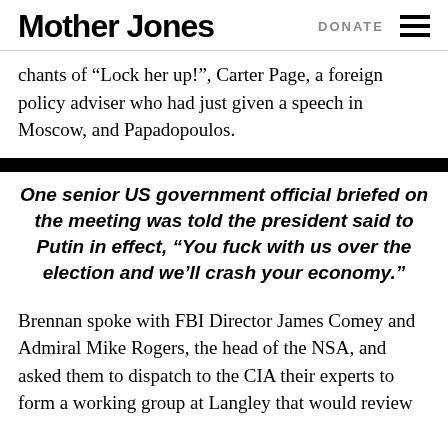Mother Jones | DONATE
chants of “Lock her up!”, Carter Page, a foreign policy adviser who had just given a speech in Moscow, and Papadopoulos.
One senior US government official briefed on the meeting was told the president said to Putin in effect, “You fuck with us over the election and we’ll crash your economy.”
Brennan spoke with FBI Director James Comey and Admiral Mike Rogers, the head of the NSA, and asked them to dispatch to the CIA their experts to form a working group at Langley that would review